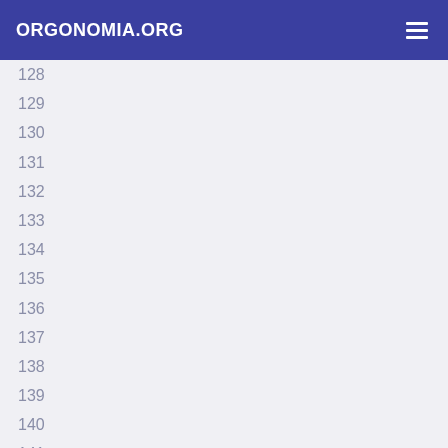ORGONOMIA.ORG
128
129
130
131
132
133
134
135
136
137
138
139
140
141
142